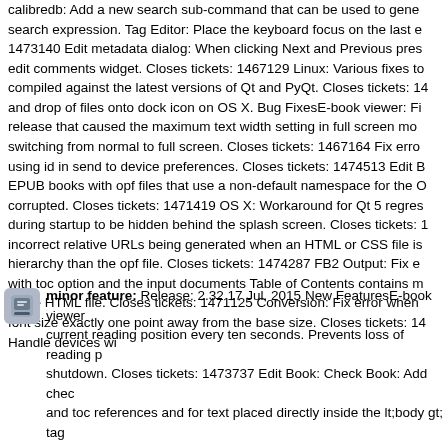calibredb: Add a new search sub-command that can be used to generate a search expression. Tag Editor: Place the keyboard focus on the last e... 1473140 Edit metadata dialog: When clicking Next and Previous pres... edit comments widget. Closes tickets: 1467129 Linux: Various fixes to... compiled against the latest versions of Qt and PyQt. Closes tickets: 14... and drop of files onto dock icon on OS X. Bug FixesE-book viewer: Fi... release that caused the maximum text width setting in full screen mo... switching from normal to full screen. Closes tickets: 1467164 Fix erro... using id in send to device preferences. Closes tickets: 1474513 Edit B... EPUB books with opf files that use a non-default namespace for the O... corrupted. Closes tickets: 1471419 OS X: Workaround for Qt 5 regres... during startup to be hidden behind the splash screen. Closes tickets: ... incorrect relative URLs being generated when an HTML or CSS file is ... hierarchy than the opf file. Closes tickets: 1474287 FB2 Output: Fix e... with toc option and the input documents Table of Contents contains m... same HTML file. Closes tickets: 1471125 Conversion: Fix error when ... font size exactly one point away from the base size. Closes tickets: 14... Handle devices wi
2.32    17 Jul 2015 20:45
minor feature: Release: 2.32 17 Jul, 2015 New FeaturesE-book viewe... current reading position every ten seconds. Prevents loss of reading p... shutdown. Closes tickets: 1473737 Edit Book: Check Book: Add chec... and toc references and for text placed directly inside the lt;body gt; ta... calibredb: Add a new search sub-command that can be used to gene... search expression. Tag Editor: Place the keyboard focus on the last e... 1473140 Edit metadata dialog: When clicking Next and Previous pres... edit comments widget. Closes tickets: 1467129 Linux: Various fixes to... compiled against the latest versions of Qt and PyQt. Closes tickets: 14... and drop of files onto dock icon on OS X. Bug FixesE-book viewer...